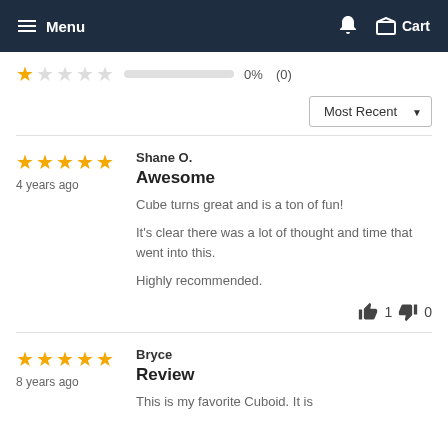Menu  Cart
★☆☆☆☆  0%  (0)
Most Recent ▼
★★★★★
4 years ago
Shane O.
Awesome
Cube turns great and is a ton of fun!

It's clear there was a lot of thought and time that went into this.

Highly recommended.
👍 1  👎 0
★★★★★
8 years ago
Bryce
Review
This is my favorite Cuboid. It is